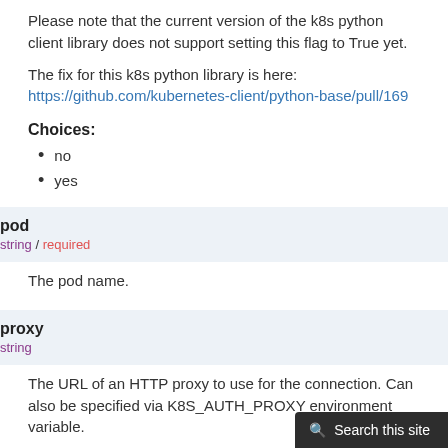Please note that the current version of the k8s python client library does not support setting this flag to True yet.
The fix for this k8s python library is here: https://github.com/kubernetes-client/python-base/pull/169
Choices:
no
yes
| pod | string / required |
| --- | --- |
| The pod name. |  |
| proxy | string |
| --- | --- |
| The URL of an HTTP proxy to use for the connection. Can also be specified via K8S_AUTH_PROXY environment variable. |  |
| Please note that this module does not pick up |  |
Search this site